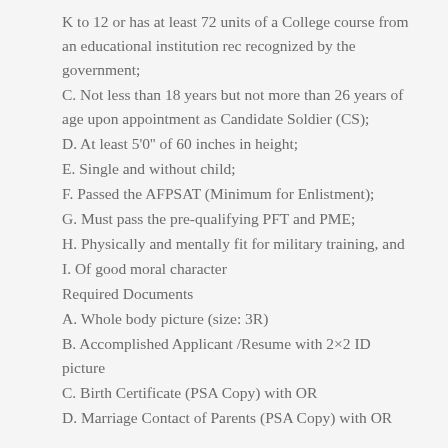K to 12 or has at least 72 units of a College course from an educational institution rec recognized by the government;
C. Not less than 18 years but not more than 26 years of age upon appointment as Candidate Soldier (CS);
D. At least 5'0'' of 60 inches in height;
E. Single and without child;
F. Passed the AFPSAT (Minimum for Enlistment);
G. Must pass the pre-qualifying PFT and PME;
H. Physically and mentally fit for military training, and
I. Of good moral character
Required Documents
A. Whole body picture (size: 3R)
B. Accomplished Applicant /Resume with 2×2 ID picture
C. Birth Certificate (PSA Copy) with OR
D. Marriage Contact of Parents (PSA Copy) with OR